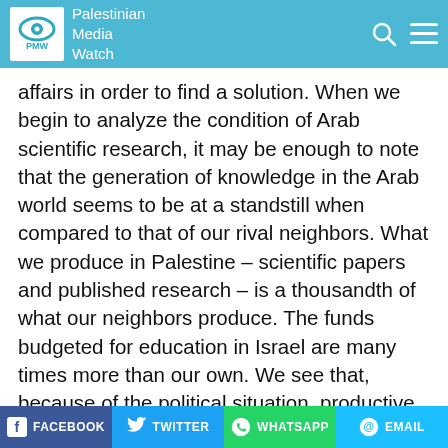Palestinian Media Watch
affairs in order to find a solution. When we begin to analyze the condition of Arab scientific research, it may be enough to note that the generation of knowledge in the Arab world seems to be at a standstill when compared to that of our rival neighbors. What we produce in Palestine – scientific papers and published research – is a thousandth of what our neighbors produce. The funds budgeted for education in Israel are many times more than our own. We see that, because of the political situation, productive scientific research for our military-security establishment is nonexistent, while our neighbors earmark about 50 percent of their defense budget for scientific research to develop tracking, reconnaissance,
FACEBOOK  TWITTER  WHATSAPP  EMAIL